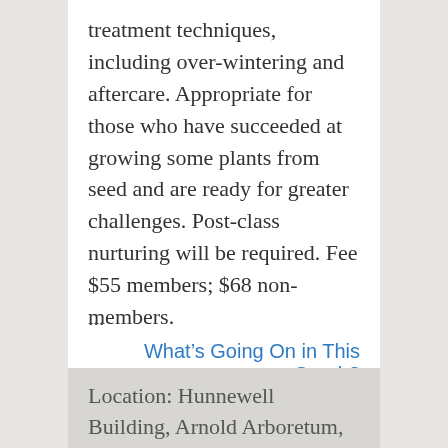treatment techniques, including over-wintering and aftercare. Appropriate for those who have succeeded at growing some plants from seed and are ready for greater challenges. Post-class nurturing will be required. Fee $55 members; $68 non-members.
...
What’s Going On in This Graph?
Location: Hunnewell Building, Arnold Arboretum, 125 Arborway, Jamaica Plain, MA 02130